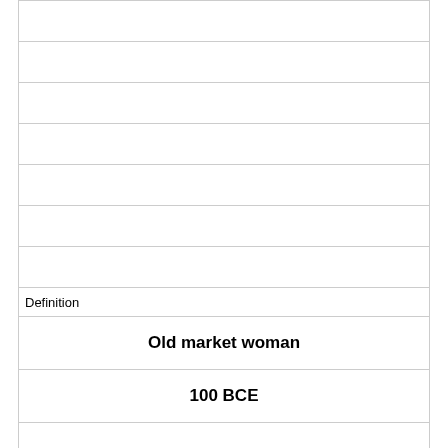|  |
|  |
|  |
|  |
|  |
|  |
|  |
| Definition |
| Old market woman |
| 100 BCE |
|  |
|  |
|  |
|  |
|  |
|  |
| Term |
| [image] |